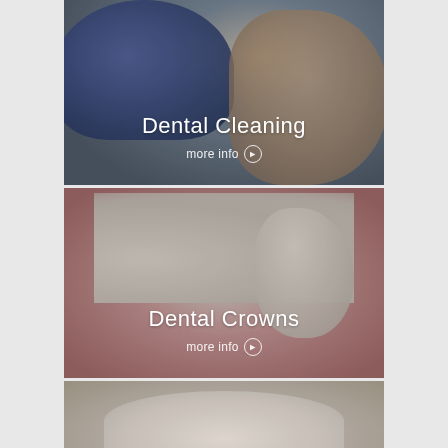[Figure (photo): Dental cleaning photo showing dental professional in blue gloves performing dental cleaning on a smiling female patient. Text overlay reads 'Dental Cleaning' with 'more info' link.]
[Figure (photo): 3D illustration of dental crowns showing multiple white tooth models on a pink/red background with a dental tool. Text overlay reads 'Dental Crowns' with 'more info' link.]
[Figure (photo): Photo showing close-up of a man's smile with white teeth. Partially visible at bottom of page.]